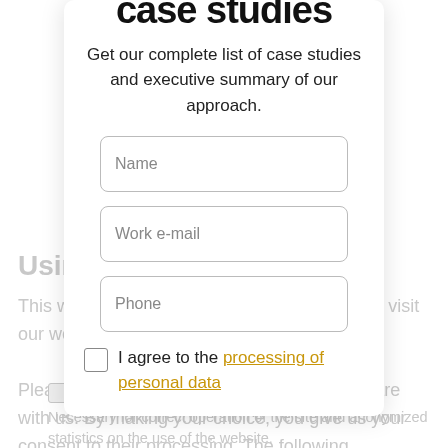case studies
Get our complete list of case studies and executive summary of our approach.
Using cookies
This website uses cookies, which allow you to visit our website as conveniently as possible.
Please choose which cookies you want to share with us. By making your choice, you give us your consent to their processing. The following categories of cookies are used to improve the comfort and functionality of using the website and customizing its content and ads..
[Figure (other): Form input field with placeholder text 'Name']
[Figure (other): Form input field with placeholder text 'Work e-mail']
[Figure (other): Form input field with placeholder text 'Phone']
I agree to the processing of personal data
Necessary
Necessary for correct operation of the site and anonymized statistics on the use of the website.